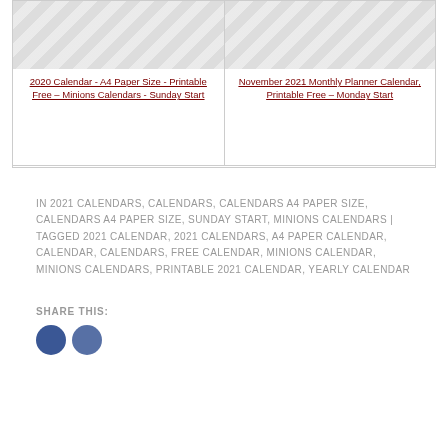[Figure (screenshot): Two calendar thumbnail images side by side with placeholder image (grey diagonal striped) and linked captions below each.]
2020 Calendar - A4 Paper Size - Printable Free – Minions Calendars - Sunday Start
November 2021 Monthly Planner Calendar, Printable Free – Monday Start
IN 2021 CALENDARS, CALENDARS, CALENDARS A4 PAPER SIZE, CALENDARS A4 PAPER SIZE, SUNDAY START, MINIONS CALENDARS | TAGGED 2021 CALENDAR, 2021 CALENDARS, A4 PAPER CALENDAR, CALENDAR, CALENDARS, FREE CALENDAR, MINIONS CALENDAR, MINIONS CALENDARS, PRINTABLE 2021 CALENDAR, YEARLY CALENDAR
SHARE THIS:
[Figure (illustration): Two circular social media share icons (Facebook style, dark blue)]